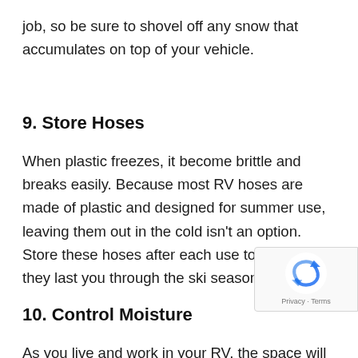job, so be sure to shovel off any snow that accumulates on top of your vehicle.
9. Store Hoses
When plastic freezes, it become brittle and breaks easily. Because most RV hoses are made of plastic and designed for summer use, leaving them out in the cold isn't an option. Store these hoses after each use to ensure that they last you through the ski season.
10. Control Moisture
As you live and work in your RV, the space will quickly start to fill with moisture. Wet snow, clothes, running wate even just breathing will start to make the space feel